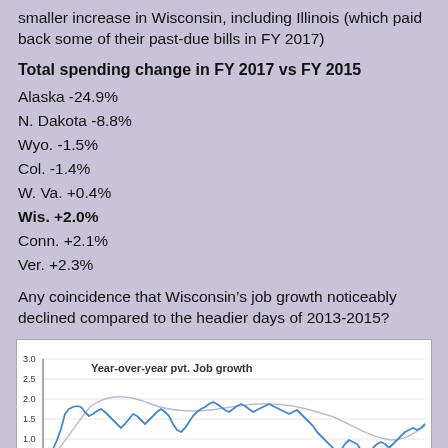smaller increase in Wisconsin, including Illinois (which paid back some of their past-due bills in FY 2017)
Total spending change in FY 2017 vs FY 2015
Alaska -24.9%
N. Dakota -8.8%
Wyo. -1.5%
Col. -1.4%
W. Va. +0.4%
Wis. +2.0%
Conn. +2.1%
Ver. +2.3%
Any coincidence that Wisconsin’s job growth noticeably declined compared to the headier days of 2013-2015?
[Figure (continuous-plot): Line chart titled 'Year-over-year pvt. Job growth' showing Wisconsin private sector year-over-year job growth over time, ranging approximately from 0.5 to 3.0, with values generally between 1.0 and 1.75 over most of the period, dipping lower toward the right side of the chart.]